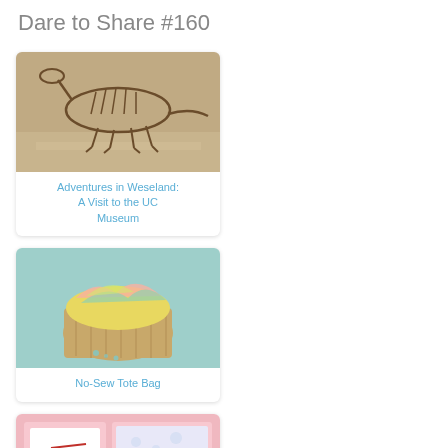Dare to Share #160
[Figure (photo): Dinosaur skeleton exhibit at a museum]
Adventures in Weseland: A Visit to the UC Museum
[Figure (photo): No-sew tote bag with colorful fabric]
No-Sew Tote Bag
[Figure (photo): Magical painting kids craft activity]
Magical Painting
[Figure (photo): Triple chocolate tiramisu dessert]
Triple Chocolate Tiramisu
[Figure (photo): Partial view of bottom-left card image]
[Figure (photo): Partial view of bottom-right card image]